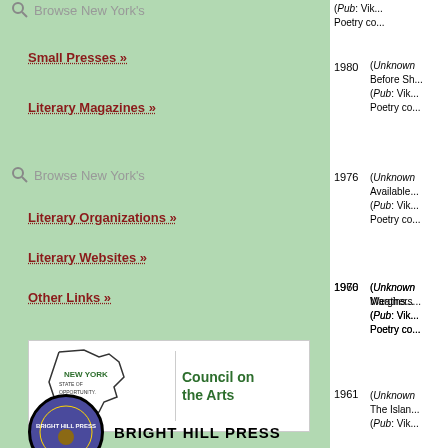Browse New York's
Small Presses »
Literary Magazines »
Browse New York's
Literary Organizations »
Literary Websites »
Other Links »
[Figure (logo): New York State of Opportunity Council on the Arts logo]
[Figure (logo): Bright Hill Press logo with circular seal and text]
1980 (Unknown) Before Sh... (Pub: Vik... Poetry co...
1976 (Unknown) Available... (Pub: Vik... Poetry co...
1970 (Unknown) Margins... (Pub: Vik... Poetry co...
1966 (Unknown) Weathers... (Pub: Vik... Poetry co...
1961 (Unknown) The Islan... (Pub: Vik...